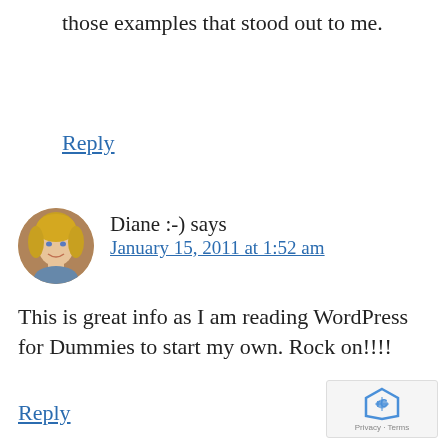those examples that stood out to me.
Reply
Diane :-) says
January 15, 2011 at 1:52 am
This is great info as I am reading WordPress for Dummies to start my own. Rock on!!!!
Reply
[Figure (photo): reCAPTCHA badge with logo and Privacy - Terms text]